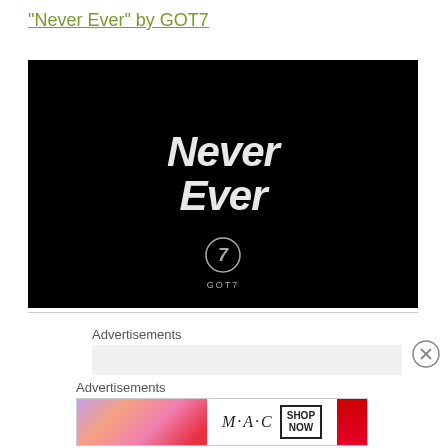"Never Ever" by GOT7
[Figure (screenshot): Black video thumbnail with 'Never Ever' text in large bold white/light gray italic font and GOT7 logo at the bottom center on black background]
Advertisements
Advertisements
[Figure (photo): MAC Cosmetics advertisement banner with lipsticks in purple, peach, pink colors on left, MAC logo in italic text center, SHOP NOW button box, and red lipstick on right]